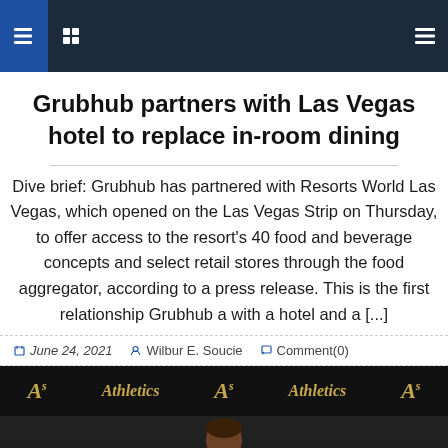Navigation bar with icons
Grubhub partners with Las Vegas hotel to replace in-room dining
Dive brief: Grubhub has partnered with Resorts World Las Vegas, which opened on the Las Vegas Strip on Thursday, to offer access to the resort's 40 food and beverage concepts and select retail stores through the food aggregator, according to a press release. This is the first relationship Grubhub a with a hotel and a [...]
June 24, 2021  Wilbur E. Soucie  Comment(0)
[Figure (photo): Person at an Oakland Athletics press conference backdrop with A's and Athletics logos]